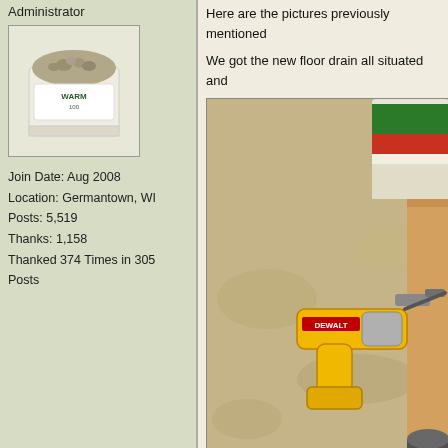Administrator
[Figure (photo): Avatar image showing a bag of granular material (WARM brand product) on a white background]
Join Date: Aug 2008
Location: Germantown, WI
Posts: 5,519
Thanks: 1,158
Thanked 374 Times in 305 Posts
Here are the pictures previously mentioned
We got the new floor drain all situated and
[Figure (photo): Photo of a concrete floor with a yellow DeWalt cordless drill/impact driver on it, and a white plastic pipe visible at the bottom right. A can with a red and green label is visible in the upper right corner.]